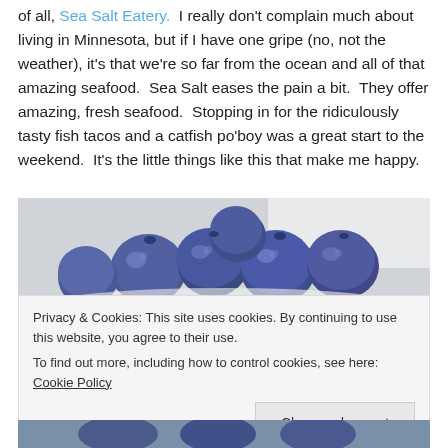of all, Sea Salt Eatery. I really don't complain much about living in Minnesota, but if I have one gripe (no, not the weather), it's that we're so far from the ocean and all of that amazing seafood. Sea Salt eases the pain a bit. They offer amazing, fresh seafood. Stopping in for the ridiculously tasty fish tacos and a catfish po'boy was a great start to the weekend. It's the little things like this that make me happy.
[Figure (photo): Close-up photo of fresh blueberries on a light gray background]
Privacy & Cookies: This site uses cookies. By continuing to use this website, you agree to their use.
To find out more, including how to control cookies, see here: Cookie Policy
[Figure (photo): Bottom portion of blueberries photo partially visible]